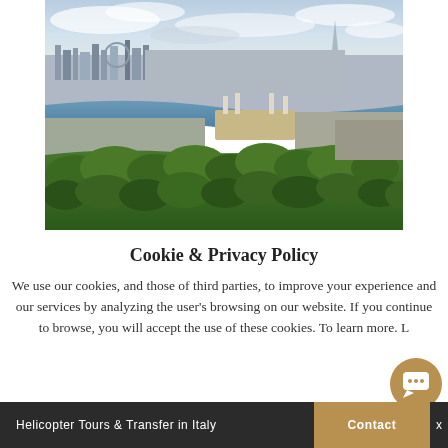[Figure (photo): Aerial view of London cityscape with the Thames River, Battersea Power Station, parks with green trees in foreground, and city skyline with The Shard in background under cloudy sky.]
Cookie & Privacy Policy
We use our cookies, and those of third parties, to improve your experience and our services by analyzing the user's browsing on our website. If you continue to browse, you will accept the use of these cookies. To learn more. L
Helicopter Tours & Transfer in Italy  Contact  x